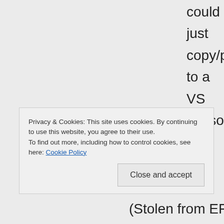could just copy/paste to a VS console app and tell me what you see and what you expect to see. Honestly, I'd rather spend time on actually finishing this project and driving it to the final version rather than trying to
Privacy & Cookies: This site uses cookies. By continuing to use this website, you agree to their use. To find out more, including how to control cookies, see here: Cookie Policy
Close and accept
(Stolen from EF bug